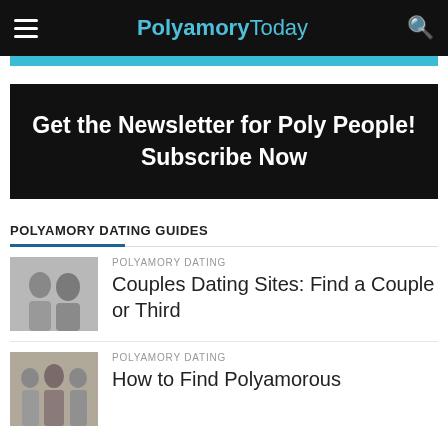PolyamoryToday
[Figure (other): Teal banner strip at top of content area]
[Figure (other): Black newsletter subscription banner reading: Get the Newsletter for Poly People! Subscribe Now]
POLYAMORY DATING GUIDES
POLYAMORY DATING
[Figure (photo): Photo of a couple looking at something together, man and woman]
Couples Dating Sites: Find a Couple or Third
POLYAMORY DATING
[Figure (photo): Photo of a group of people]
How to Find Polyamorous